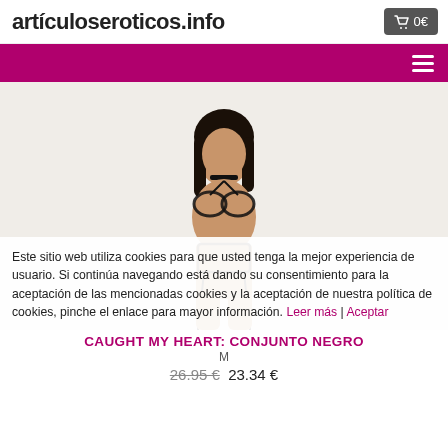articuloseroticos.info  🛒 0€
[Figure (photo): Product photo of a woman wearing black fishnet lingerie set (bralette with choker neck, thong with garter straps) on white background]
Este sitio web utiliza cookies para que usted tenga la mejor experiencia de usuario. Si continúa navegando está dando su consentimiento para la aceptación de las mencionadas cookies y la aceptación de nuestra política de cookies, pinche el enlace para mayor información. Leer más | Aceptar
CAUGHT MY HEART: CONJUNTO NEGRO
M
26.95 € 23.34 €